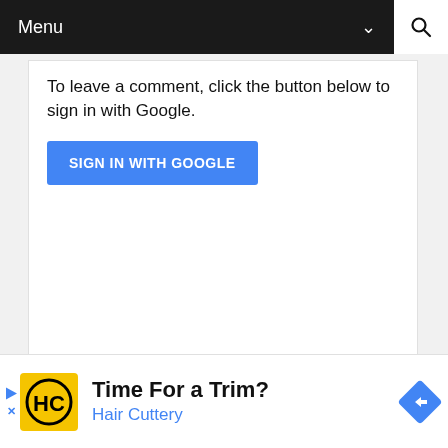Menu
To leave a comment, click the button below to sign in with Google.
[Figure (screenshot): Blue button labeled SIGN IN WITH GOOGLE]
RECENT POSTS
[Figure (infographic): Advertisement: Time For a Trim? Hair Cuttery logo and navigation arrow icon]